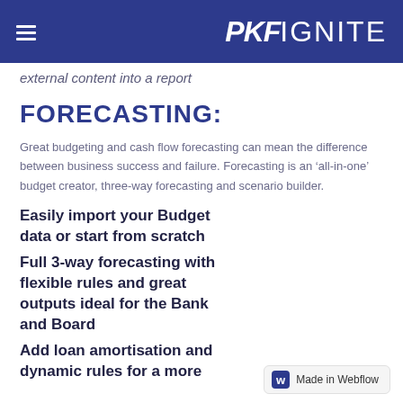PKF IGNITE
external content into a report
FORECASTING:
Great budgeting and cash flow forecasting can mean the difference between business success and failure. Forecasting is an ‘all-in-one’ budget creator, three-way forecasting and scenario builder.
Easily import your Budget data or start from scratch
Full 3-way forecasting with flexible rules and great outputs ideal for the Bank and Board
Add loan amortisation and dynamic rules for a more